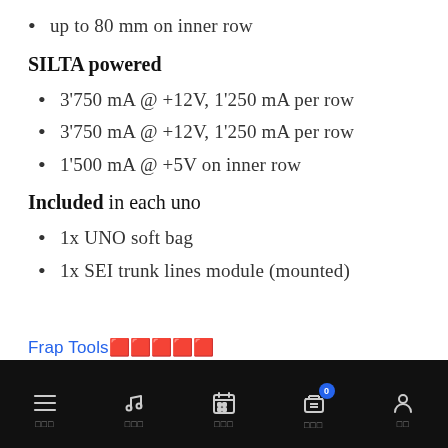up to 80 mm on inner row
SILTA powered
3'750 mA @ +12V, 1'250 mA per row
3'750 mA @ +12V, 1'250 mA per row
1'500 mA @ +5V on inner row
Included in each uno
1x UNO soft bag
1x SEI trunk lines module (mounted)
Frap Tools 🔲🔲🔲🔲🔲